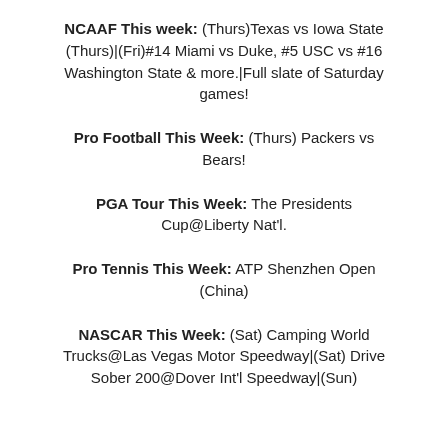NCAAF This week: (Thurs)Texas vs Iowa State (Thurs)|(Fri)#14 Miami vs Duke, #5 USC vs #16 Washington State & more.|Full slate of Saturday games!
Pro Football This Week: (Thurs) Packers vs Bears!
PGA Tour This Week: The Presidents Cup@Liberty Nat'l.
Pro Tennis This Week: ATP Shenzhen Open (China)
NASCAR This Week: (Sat) Camping World Trucks@Las Vegas Motor Speedway|(Sat) Drive Sober 200@Dover Int'l Speedway|(Sun)